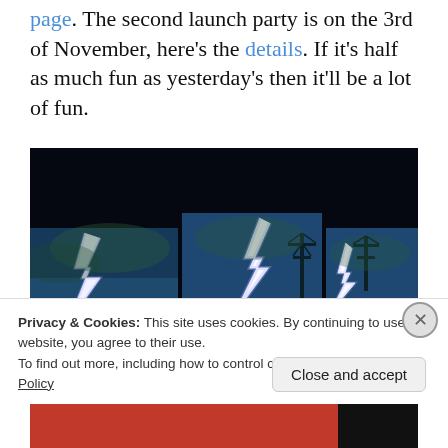page. The second launch party is on the 3rd of November, here's the details. If it's half as much fun as yesterday's then it'll be a lot of fun.
[Figure (photo): Three books or album covers displayed side by side against a dark background, each featuring a dramatic lightning strike image against a blue-green stormy sky with electrical power line towers visible.]
Privacy & Cookies: This site uses cookies. By continuing to use this website, you agree to their use.
To find out more, including how to control cookies, see here: Cookie Policy
Close and accept